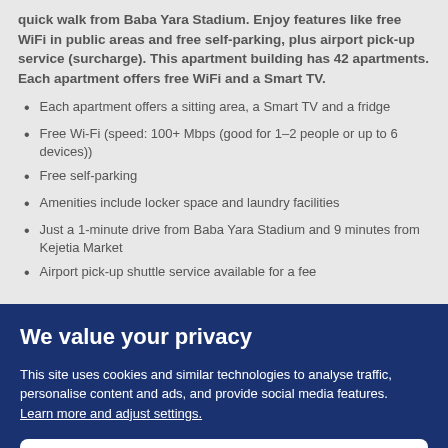quick walk from Baba Yara Stadium. Enjoy features like free WiFi in public areas and free self-parking, plus airport pick-up service (surcharge). This apartment building has 42 apartments. Each apartment offers free WiFi and a Smart TV.
Each apartment offers a sitting area, a Smart TV and a fridge
Free Wi-Fi (speed: 100+ Mbps (good for 1–2 people or up to 6 devices))
Free self-parking
Amenities include locker space and laundry facilities
Just a 1-minute drive from Baba Yara Stadium and 9 minutes from Kejetia Market
Airport pick-up shuttle service available for a fee
We value your privacy
This site uses cookies and similar technologies to analyse traffic, personalise content and ads, and provide social media features. Learn more and adjust settings.
Accept